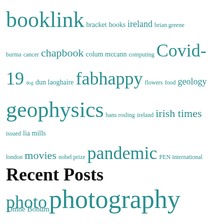[Figure (infographic): Tag cloud with various terms in teal/green color at varying font sizes indicating frequency: booklink (largest), bracket, books, ireland, brian greene, burma, cancer, chapbook, colum mccann, computing, Covid-19 (large), dog, dun laoghaire, fabhappy (large), flowers, food, geology, geophysics (large), hans rosling, ireland, irish times, issued, lia mills, london, movies, nobel prize, pandemic (large), PEN international, photo (large), photography (largest), photos (largest), photozines (large), plants, poetry, popular, sahara, simonscarves, the, uplift kit, travel (large), ungrievable, volcano, walking (large)]
Recent Posts
Omne Bonum